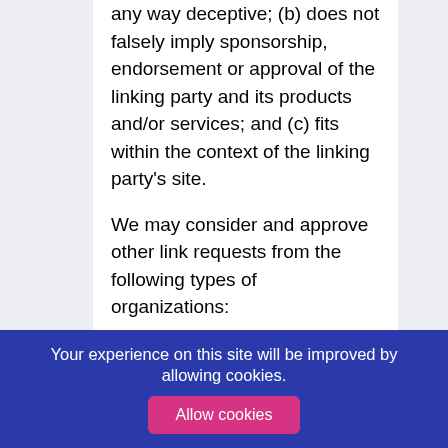any way deceptive; (b) does not falsely imply sponsorship, endorsement or approval of the linking party and its products and/or services; and (c) fits within the context of the linking party's site.
We may consider and approve other link requests from the following types of organizations:
commonly-known consumer and/or business information sources;
dot.com community sites;
associations or other groups representing charities;
online directory distributors;
internet portals;
Your experience on this site will be improved by allowing cookies.